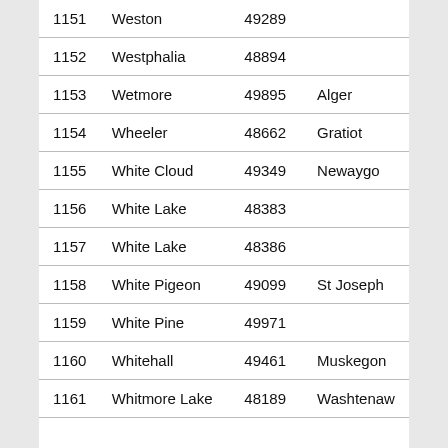| # | City | ZIP | County |
| --- | --- | --- | --- |
| 1151 | Weston | 49289 |  |
| 1152 | Westphalia | 48894 |  |
| 1153 | Wetmore | 49895 | Alger |
| 1154 | Wheeler | 48662 | Gratiot |
| 1155 | White Cloud | 49349 | Newaygo |
| 1156 | White Lake | 48383 |  |
| 1157 | White Lake | 48386 |  |
| 1158 | White Pigeon | 49099 | St Joseph |
| 1159 | White Pine | 49971 |  |
| 1160 | Whitehall | 49461 | Muskegon |
| 1161 | Whitmore Lake | 48189 | Washtenaw |